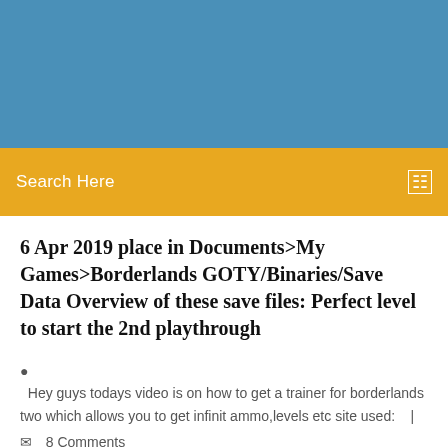[Figure (other): Blue header banner background]
Search Here
6 Apr 2019 place in Documents>My Games>Borderlands GOTY/Binaries/Save Data Overview of these save files: Perfect level to start the 2nd playthrough
Hey guys todays video is on how to get a trainer for borderlands two which allows you to get infinit ammo,levels etc site used:   |   8 Comments